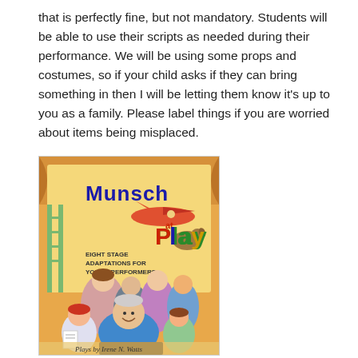that is perfectly fine, but not mandatory. Students will be able to use their scripts as needed during their performance. We will be using some props and costumes, so if your child asks if they can bring something in then I will be letting them know it's up to you as a family. Please label things if you are worried about items being misplaced.
[Figure (illustration): Book cover of 'Munsch at Play: Eight Stage Adaptations for Young Performers' with colorful cartoon illustration of children and adults performing, with an airplane, and text 'Plays by Irene N. Watts' at the bottom.]